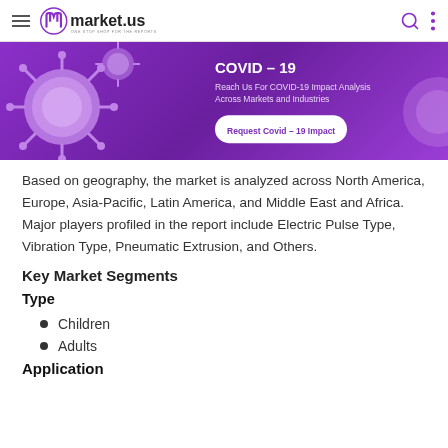market.us — ONE STOP SHOP FOR THE REPORTS
[Figure (photo): COVID-19 banner with purple background showing coronavirus particles. Text reads: COVID – 19, Reach Us For COVID-19 Impact Analysis Across Markets and Industries. Button: Request Covid – 19 Impact]
Based on geography, the market is analyzed across North America, Europe, Asia-Pacific, Latin America, and Middle East and Africa. Major players profiled in the report include Electric Pulse Type, Vibration Type, Pneumatic Extrusion, and Others.
Key Market Segments
Type
Children
Adults
Application